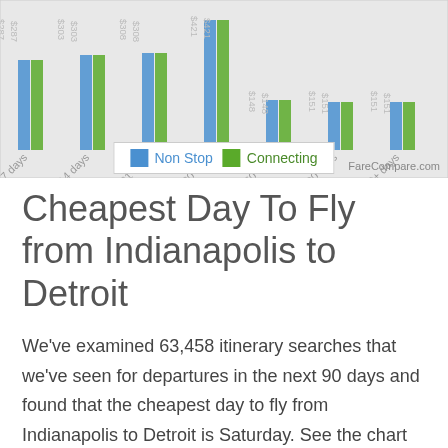[Figure (grouped-bar-chart): Advance Purchase Days vs Fare]
Cheapest Day To Fly from Indianapolis to Detroit
We've examined 63,458 itinerary searches that we've seen for departures in the next 90 days and found that the cheapest day to fly from Indianapolis to Detroit is Saturday. See the chart below to compare prices for